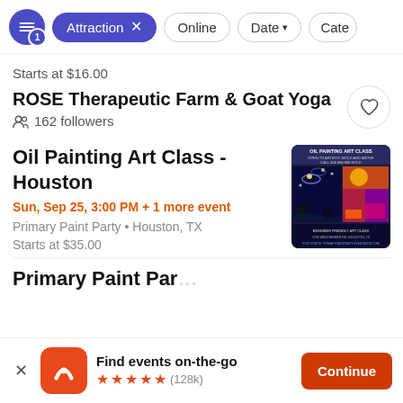Filter buttons: Attraction (active, x), Online, Date, Cate…
Starts at $16.00
ROSE Therapeutic Farm & Goat Yoga
162 followers
Oil Painting Art Class - Houston
Sun, Sep 25, 3:00 PM + 1 more event
Primary Paint Party • Houston, TX
Starts at $35.00
[Figure (other): Oil Painting Art Class event poster showing starry night style painting and colorful abstract art, with text OIL PAINTING ART CLASS, BEGINNER FRIENDLY ART CLASS, 1700 WESTHEIMER RD, HOUSTON, TX]
Primary Paint Par…
Find events on-the-go ★★★★★ (128k)
Continue